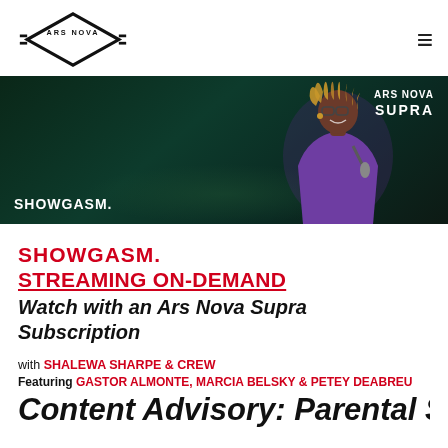ARS NOVA
[Figure (photo): Hero banner image: a Black woman with dreadlocks wearing a purple sparkly jacket, holding a microphone on a dark green stage background. Text overlays: 'SHOWGASM.' at bottom left, 'ARS NOVA SUPRA' at top right.]
SHOWGASM.
STREAMING ON-DEMAND
Watch with an Ars Nova Supra Subscription
with SHALEWA SHARPE & CREW
Featuring GASTOR ALMONTE, MARCIA BELSKY & PETEY DEABREU